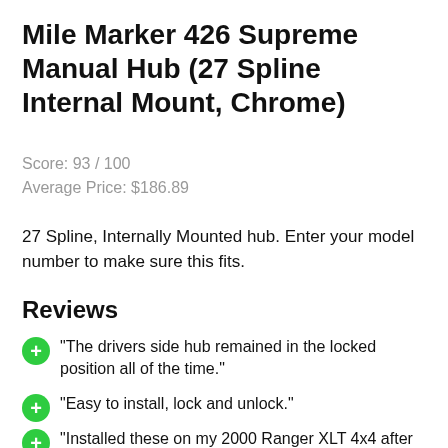Mile Marker 426 Supreme Manual Hub (27 Spline Internal Mount, Chrome)
Score: 93 / 100
Average Price: $186.89
27 Spline, Internally Mounted hub. Enter your model number to make sure this fits.
Reviews
"The drivers side hub remained in the locked position all of the time."
"Easy to install, lock and unlock."
"Installed these on my 2000 Ranger XLT 4x4 after replacing the twice failed Rugged Ridge (GARBAGE!!)"